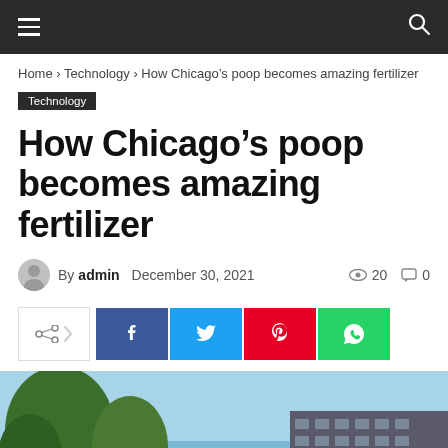Navigation bar with hamburger menu and search icon
Home › Technology › How Chicago's poop becomes amazing fertilizer
Technology
How Chicago's poop becomes amazing fertilizer
By admin   December 30, 2021   20   0
[Figure (other): Social share buttons: share, Facebook, Twitter, Pinterest, WhatsApp]
[Figure (photo): Outdoor photo showing trees and a building under a blue sky]